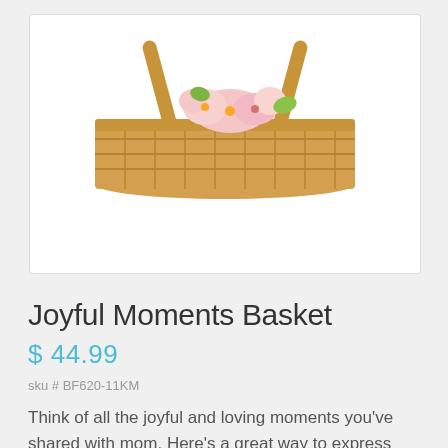[Figure (photo): A wicker basket with a wooden handle containing pink flowers (likely Asiatic lily, roses, alstroemeria), viewed from slightly above. The basket has a woven pattern and sits on a white background.]
Joyful Moments Basket
$ 44.99
sku # BF620-11KM
Think of all the joyful and loving moments you've shared with mom. Here's a great way to express those thoughts! Asiatic lily, roses, alstroemeria, carnations, solidago, button poms and